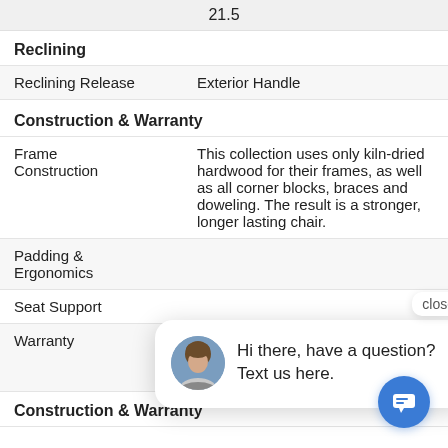| 21.5 |  |
Reclining
| Reclining Release | Exterior Handle |
Construction & Warranty
| Frame Construction | This collection uses only kiln-dried hardwood for their frames, as well as all corner blocks, braces and doweling. The result is a stronger, longer lasting chair. |
| Padding & Ergonomics |  |
| Seat Support |  |
| Warranty | reclining mechanisms, springs and spring systems, and wood fr... parts with a lifetime warranty. |
Construction & Warranty
Hi there, have a question? Text us here.